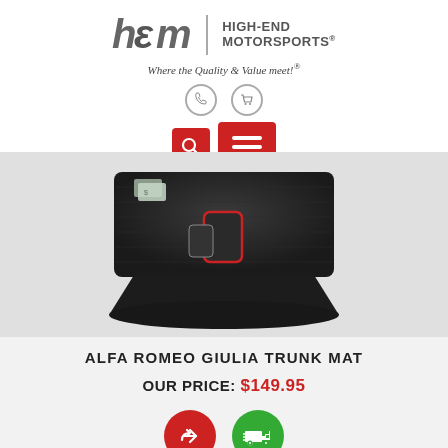[Figure (logo): HEM High-End Motorsports logo with tagline 'Where the Quality & Value meet!®']
[Figure (screenshot): Navigation icons: phone, cart, search (red button), hamburger menu (red button)]
[Figure (photo): Alfa Romeo Giulia trunk mat product photo on grey background]
ALFA ROMEO GIULIA TRUNK MAT
OUR PRICE: $149.95
[Figure (infographic): Share button (red circle with arrow) and shipping/delivery button (green circle with truck icon)]